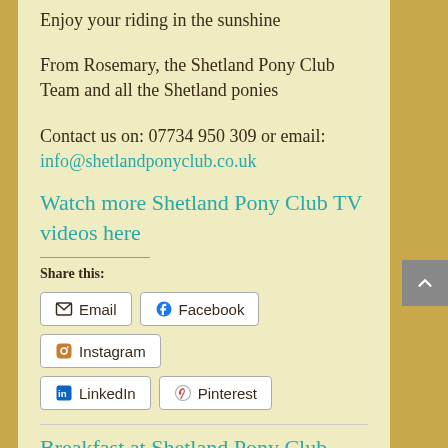Enjoy your riding in the sunshine
From Rosemary, the Shetland Pony Club Team and all the Shetland ponies
Contact us on: 07734 950 309 or email: info@shetlandponyclub.co.uk
Watch more Shetland Pony Club TV videos here
Share this:
Email | Facebook | Instagram | LinkedIn | Pinterest
Breakfast at Shetland Pony Club Camp
by Shetland Pony Club | Aug 21, 2018